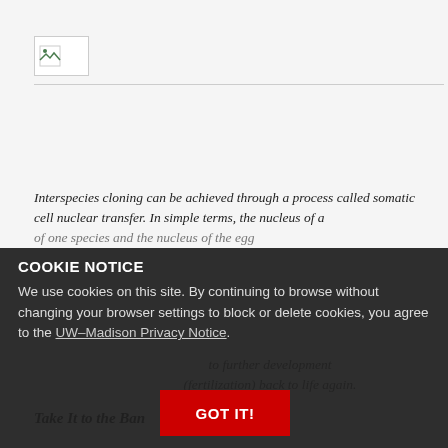[Figure (photo): Broken image placeholder icon at top left of page]
Interspecies cloning can be achieved through a process called somatic cell nuclear transfer. In simple terms, the nucleus of a
of one species and the nucleus of the egg
to further development (fertilization) back to life again.
Take It to the Ban
COOKIE NOTICE
We use cookies on this site. By continuing to browse without changing your browser settings to block or delete cookies, you agree to the UW–Madison Privacy Notice.